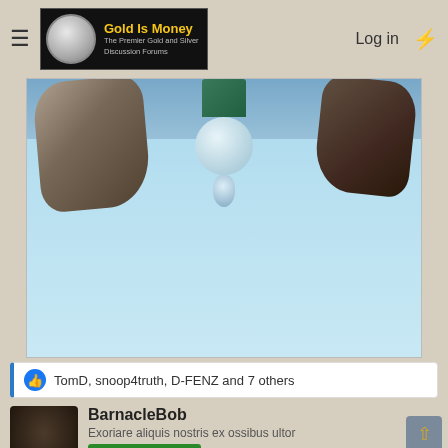Gold Is Money – The Premier Gold and Silver Discussion Forums | Log in
[Figure (photo): Photo of gloved hands holding a transparent flask or bubble object against a blue sky background]
TomD, snoop4truth, D-FENZ and 7 others
BarnacleBob
Exoriare aliquis nostris ex ossibus ultor | Founding Member | Survivor | GIM Hall Of Fame
Nov 17, 2019
The flat Earther experience is...